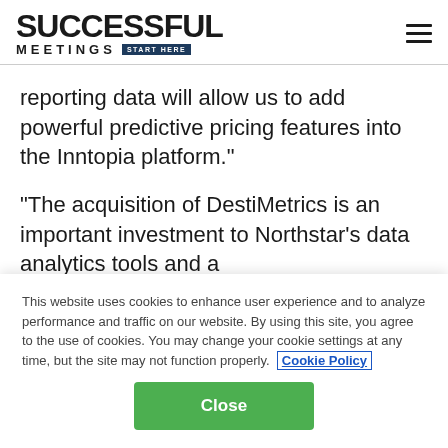SUCCESSFUL MEETINGS START HERE
reporting data will allow us to add powerful predictive pricing features into the Inntopia platform."
"The acquisition of DestiMetrics is an important investment to Northstar's data analytics tools and a
This website uses cookies to enhance user experience and to analyze performance and traffic on our website. By using this site, you agree to the use of cookies. You may change your cookie settings at any time, but the site may not function properly. Cookie Policy
Close